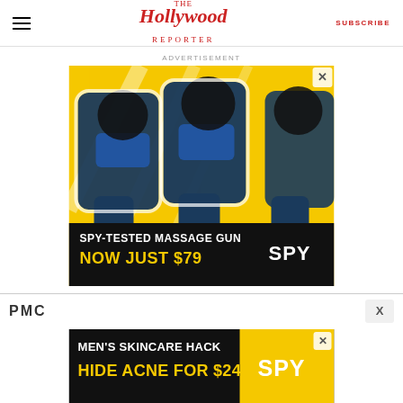The Hollywood Reporter | SUBSCRIBE
ADVERTISEMENT
[Figure (illustration): Advertisement for SPY-tested massage gun, showing blue massage guns on yellow background with text 'SPY-TESTED MASSAGE GUN NOW JUST $79' and SPY logo]
[Figure (logo): PMC logo bar with X close button]
[Figure (illustration): Advertisement with text "MEN'S SKINCARE HACK HIDE ACNE FOR $24" on dark background with SPY logo]